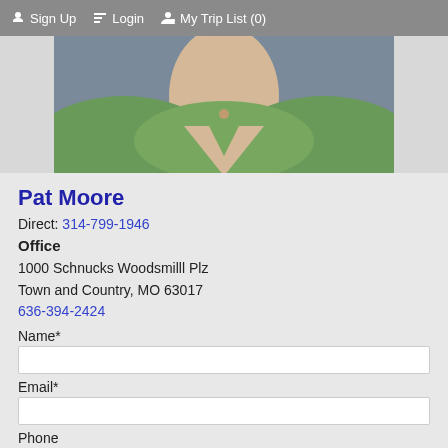Sign Up   Login   My Trip List (0)
[Figure (photo): Cropped photo of Pat Moore, a woman wearing a green jacket, showing neck and torso area]
Pat Moore
Direct: 314-799-1946
Office
1000 Schnucks Woodsmilll Plz
Town and Country, MO 63017
636-394-2424
Name*
Email*
Phone